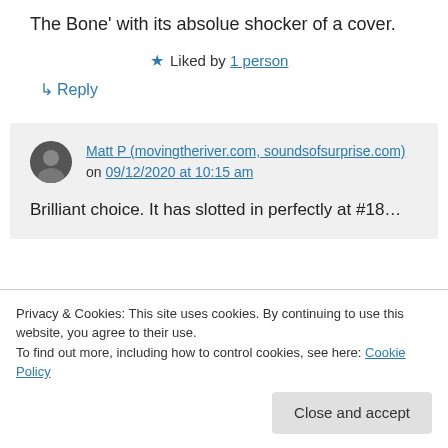The Bone' with its absolue shocker of a cover.
★ Liked by 1 person
↪ Reply
Matt P (movingtheriver.com, soundsofsurprise.com) on 09/12/2020 at 10:15 am
Brilliant choice. It has slotted in perfectly at #18…
Privacy & Cookies: This site uses cookies. By continuing to use this website, you agree to their use.
To find out more, including how to control cookies, see here: Cookie Policy